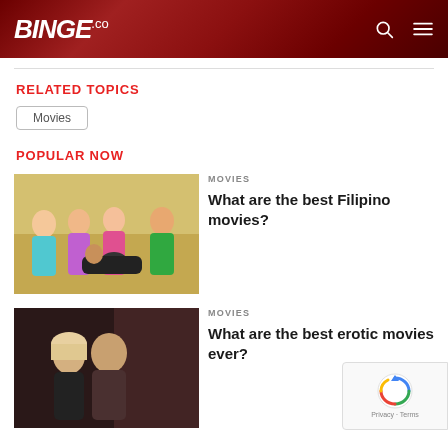BINGE.co
RELATED TOPICS
Movies
POPULAR NOW
[Figure (photo): Group photo of four women in colorful dresses holding a man in a suit]
MOVIES
What are the best Filipino movies?
[Figure (photo): Dark scene with a young man in dim lighting]
MOVIES
What are the best erotic movies ever?